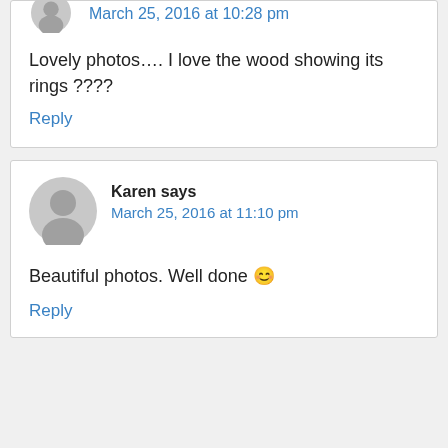March 25, 2016 at 10:28 pm
Lovely photos.... I love the wood showing its rings ????
Reply
Karen says
March 25, 2016 at 11:10 pm
Beautiful photos. Well done 😊
Reply